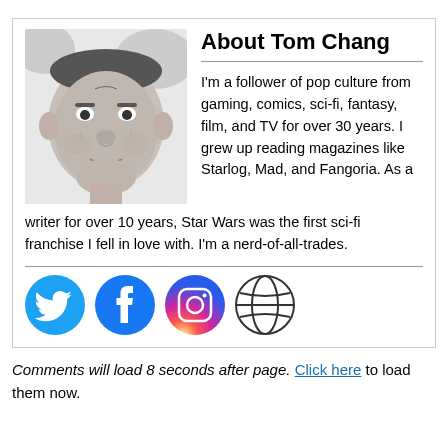[Figure (photo): Black and white photo of Tom Chang, a man with a round face, looking directly at the camera.]
About Tom Chang
I'm a follower of pop culture from gaming, comics, sci-fi, fantasy, film, and TV for over 30 years. I grew up reading magazines like Starlog, Mad, and Fangoria. As a writer for over 10 years, Star Wars was the first sci-fi franchise I fell in love with. I'm a nerd-of-all-trades.
[Figure (infographic): Social media icons: Twitter (blue bird), Facebook (blue f), Instagram (gradient camera), and a globe/website icon.]
Comments will load 8 seconds after page. Click here to load them now.